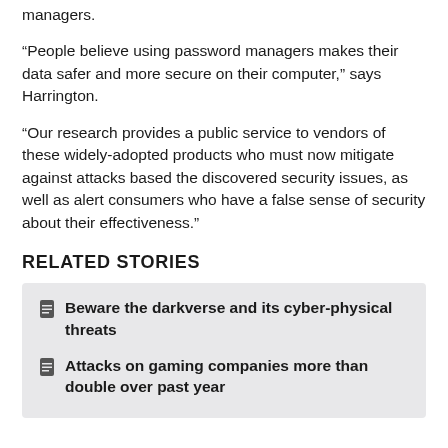managers.
“People believe using password managers makes their data safer and more secure on their computer,” says Harrington.
“Our research provides a public service to vendors of these widely-adopted products who must now mitigate against attacks based the discovered security issues, as well as alert consumers who have a false sense of security about their effectiveness.”
RELATED STORIES
Beware the darkverse and its cyber-physical threats
Attacks on gaming companies more than double over past year